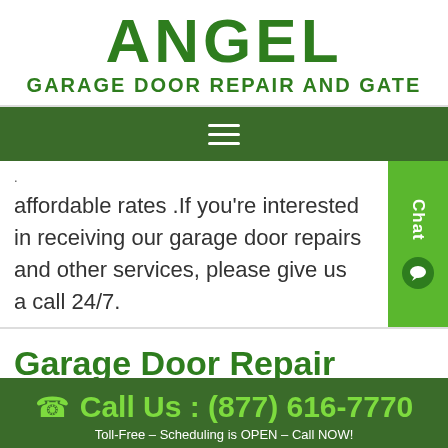ANGEL GARAGE DOOR REPAIR AND GATE
[Figure (logo): Navigation hamburger menu icon (three horizontal white lines) on a dark green bar]
affordable rates .If you're interested in receiving our garage door repairs and other services, please give us a call 24/7.
Garage Door Repair Services for Bucoda Wa
Call Us : (877) 616-7770
Toll-Free – Scheduling is OPEN – Call NOW!